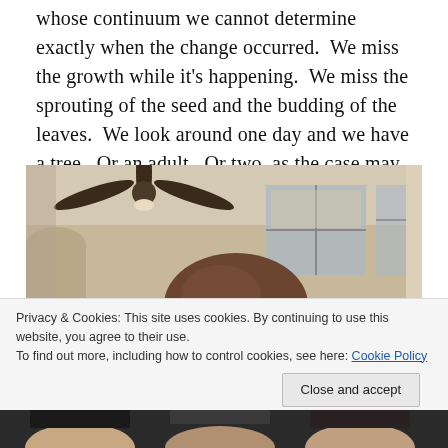whose continuum we cannot determine exactly when the change occurred.  We miss the growth while it's happening.  We miss the sprouting of the seed and the budding of the leaves.  We look around one day and we have a tree.  Or an adult.  Or two, as the case may be.
[Figure (photo): Interior room photo showing a ceiling fan with dark blades, cream/tan walls, windows with blinds, and the back of a person's head with brown hair in the foreground.]
Privacy & Cookies: This site uses cookies. By continuing to use this website, you agree to their use.
To find out more, including how to control cookies, see here: Cookie Policy
Close and accept
[Figure (photo): Bottom strip showing partial view of people's faces, partially cut off at the bottom of the page.]